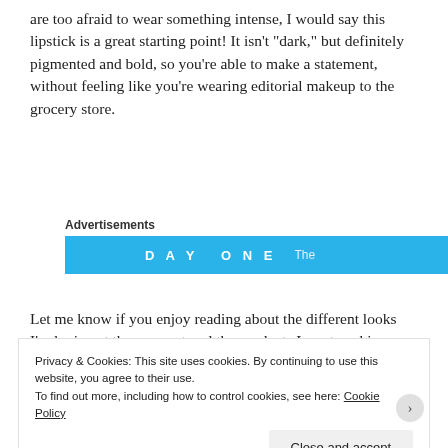are too afraid to wear something intense, I would say this lipstick is a great starting point! It isn't "dark," but definitely pigmented and bold, so you're able to make a statement, without feeling like you're wearing editorial makeup to the grocery store.
Advertisements
[Figure (other): Day One advertisement banner in bright blue with text 'DAY ONE' and partial subtitle text]
Let me know if you enjoy reading about the different looks I'm loving at the moment and the products I use to achieve
Privacy & Cookies: This site uses cookies. By continuing to use this website, you agree to their use.
To find out more, including how to control cookies, see here: Cookie Policy
Close and accept